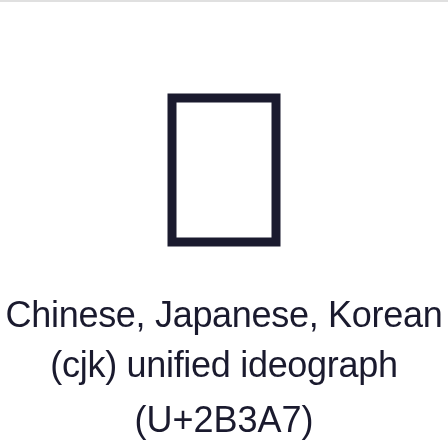[Figure (illustration): A CJK unified ideograph character U+2B3A7 rendered as a rectangle outline in dark navy blue, displayed large as a glyph preview]
Chinese, Japanese, Korean (cjk) unified ideograph (U+2B3A7)